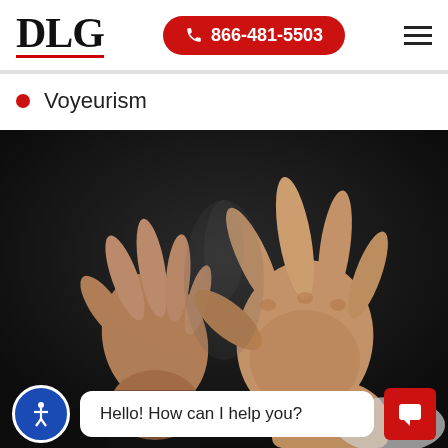DLG  866-481-5503
Voyeurism
[Figure (photo): Two hands raised in a defensive/stop gesture against a dark background, suggesting fear or defense against harm.]
Hello! How can I help you?